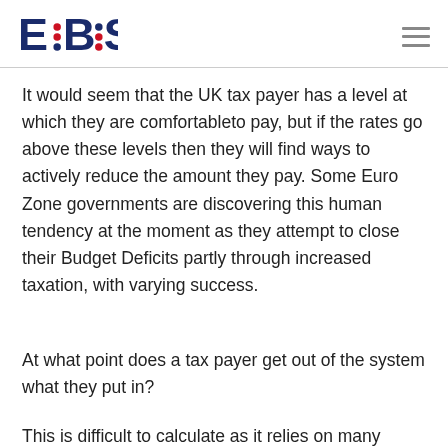EBS
It would seem that the UK tax payer has a level at which they are comfortableto pay, but if the rates go above these levels then they will find ways to actively reduce the amount they pay. Some Euro Zone governments are discovering this human tendency at the moment as they attempt to close their Budget Deficits partly through increased taxation, with varying success.
At what point does a tax payer get out of the system what they put in?
This is difficult to calculate as it relies on many estimates.